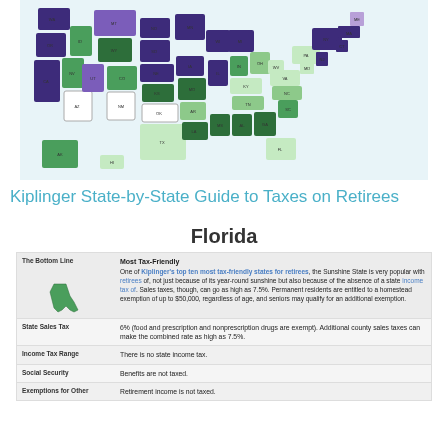[Figure (map): Color-coded US map showing tax-friendliness by state for retirees. States shaded in dark purple, medium purple, light purple, dark green, medium green, light green, very light green, and white indicating different tax-friendliness levels.]
Kiplinger State-by-State Guide to Taxes on Retirees
Florida
| Category | Details |
| --- | --- |
| The Bottom Line | Most Tax-Friendly
One of Kiplinger's top ten most tax-friendly states for retirees, the Sunshine State is very popular with retirees of, not just because of its year-round sunshine but also because of the absence of a state income tax of. Sales taxes, though, can go as high as 7.5%. Permanent residents are entitled to a homestead exemption of up to $50,000, regardless of age, and seniors may qualify for an additional exemption. |
| State Sales Tax | 6% (food and prescription and nonprescription drugs are exempt). Additional county sales taxes can make the combined rate as high as 7.5%. |
| Income Tax Range | There is no state income tax. |
| Social Security | Benefits are not taxed. |
| Exemptions for Other | Retirement income is not taxed. |